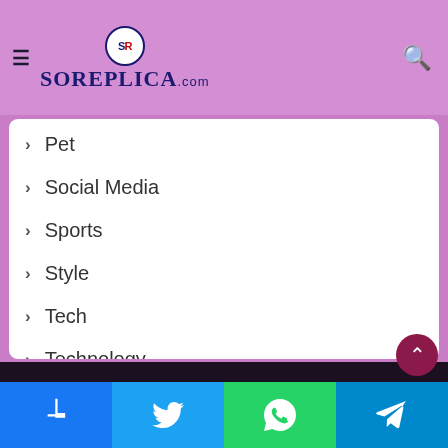Soreplica.com
Pet
Social Media
Sports
Style
Tech
Technology
Travel
Webdesign
website
Facebook Twitter WhatsApp Telegram